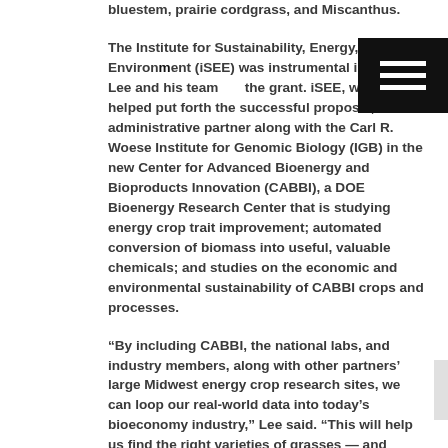bluestem, prairie cordgrass, and Miscanthus.
The Institute for Sustainability, Energy, and Environment (iSEE) was instrumental in helping Lee and his team win the grant. iSEE, which helped put forth the successful proposal, is an administrative partner along with the Carl R. Woese Institute for Genomic Biology (IGB) in the new Center for Advanced Bioenergy and Bioproducts Innovation (CABBI), a DOE Bioenergy Research Center that is studying energy crop trait improvement; automated conversion of biomass into useful, valuable chemicals; and studies on the economic and environmental sustainability of CABBI crops and processes.
“By including CABBI, the national labs, and industry members, along with other partners’ large Midwest energy crop research sites, we can loop our real-world data into today’s bioeconomy industry,” Lee said. “This will help us find the right varieties of grasses — and speed adoption of practices that increase the growth of this new energy supply while reducing cost.